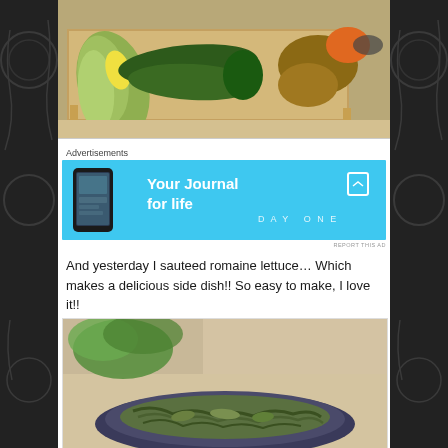[Figure (photo): Photo of fresh vegetables including corn, zucchini, green pepper, and potatoes on a wooden tray on a kitchen floor]
Advertisements
[Figure (other): Advertisement banner for Day One journal app with blue background showing 'Your Journal for life' text, phone mockup, and bookmark icon]
REPORT THIS AD
And yesterday I sauteed romaine lettuce… Which makes a delicious side dish!! So easy to make, I love it!!
[Figure (photo): Photo of sauteed romaine lettuce served on a dark plate with lettuce leaves in background]